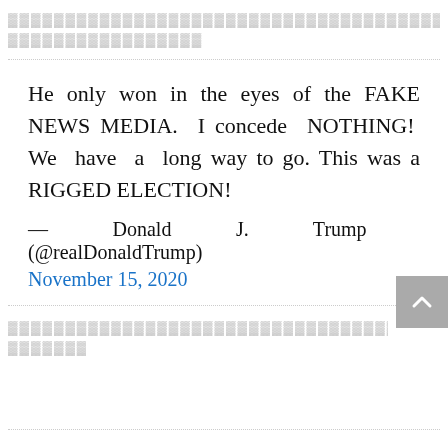████████████████████████████████████████████████████████████████████████████████████████████████████████████████████████████████████████████████████████████████████████████
He only won in the eyes of the FAKE NEWS MEDIA. I concede NOTHING! We have a long way to go. This was a RIGGED ELECTION!
— Donald J. Trump (@realDonaldTrump) November 15, 2020
████████████████████████████████████████████████████████████████████████████████████████████████████████